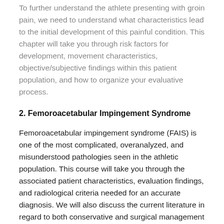To further understand the athlete presenting with groin pain, we need to understand what characteristics lead to the initial development of this painful condition. This chapter will take you through risk factors for development, movement characteristics, objective/subjective findings within this patient population, and how to organize your evaluative process.
2. Femoroacetabular Impingement Syndrome
Femoroacetabular impingement syndrome (FAIS) is one of the most complicated, overanalyzed, and misunderstood pathologies seen in the athletic population. This course will take you through the associated patient characteristics, evaluation findings, and radiological criteria needed for an accurate diagnosis. We will also discuss the current literature in regard to both conservative and surgical management of this patient population. At the end of this chapter, you will understand what the subjective history and special testing can tell us, and what it cannot. You will also understand